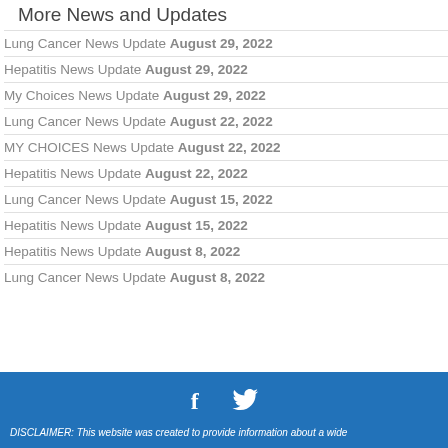More News and Updates
Lung Cancer News Update August 29, 2022
Hepatitis News Update August 29, 2022
My Choices News Update August 29, 2022
Lung Cancer News Update August 22, 2022
MY CHOICES News Update August 22, 2022
Hepatitis News Update August 22, 2022
Lung Cancer News Update August 15, 2022
Hepatitis News Update August 15, 2022
Hepatitis News Update August 8, 2022
Lung Cancer News Update August 8, 2022
DISCLAIMER: This website was created to provide information about a wide